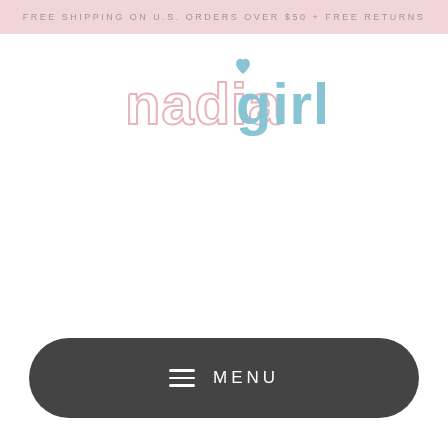FREE SHIPPING ON U.S. ORDERS OVER $50 + FREE RETURNS
[Figure (logo): Nadia Girl brand logo in light pink and blue stylized text]
≡ MENU